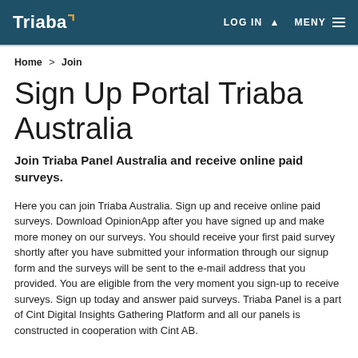Triaba | LOG IN | MENY
Home > Join
Sign Up Portal Triaba Australia
Join Triaba Panel Australia and receive online paid surveys.
Here you can join Triaba Australia. Sign up and receive online paid surveys. Download OpinionApp after you have signed up and make more money on our surveys. You should receive your first paid survey shortly after you have submitted your information through our signup form and the surveys will be sent to the e-mail address that you provided. You are eligible from the very moment you sign-up to receive surveys. Sign up today and answer paid surveys. Triaba Panel is a part of Cint Digital Insights Gathering Platform and all our panels is constructed in cooperation with Cint AB.